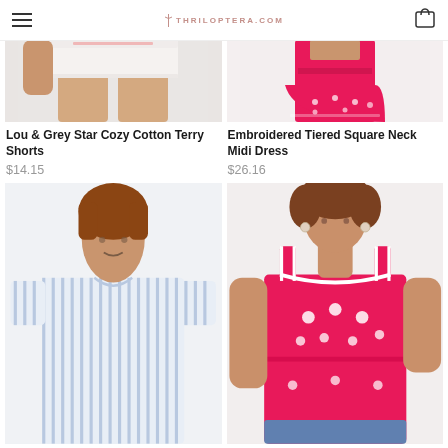THRILOPTERA.COM
[Figure (photo): Cropped lower body of model wearing white terry shorts with light pink waistband detail, against grey background]
[Figure (photo): Model wearing hot pink embroidered tiered square neck midi dress with white embroidery details, against white background]
Lou & Grey Star Cozy Cotton Terry Shorts
$14.15
Embroidered Tiered Square Neck Midi Dress
$26.16
[Figure (photo): Woman with short auburn hair smiling, wearing a light blue and white striped short-sleeve shirt dress, against white background]
[Figure (photo): Woman with short curly brown hair wearing hot pink embroidered sleeveless tank top with white embroidery and denim jeans, against white background]